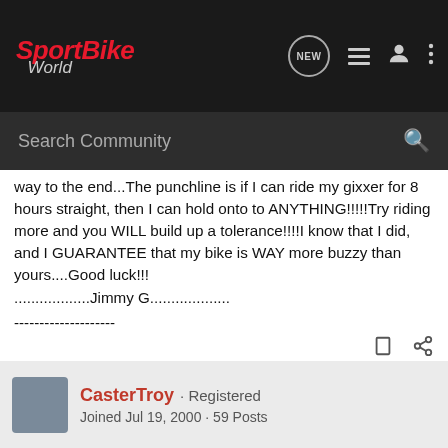SportBike World
way to the end...The punchline is if I can ride my gixxer for 8 hours straight, then I can hold onto to ANYTHING!!!!!Try riding more and you WILL build up a tolerance!!!!I know that I did, and I GUARANTEE that my bike is WAY more buzzy than yours....Good luck!!!
.................Jimmy G...................
--------------------
CasterTroy · Registered
Joined Jul 19, 2000 · 59 Posts